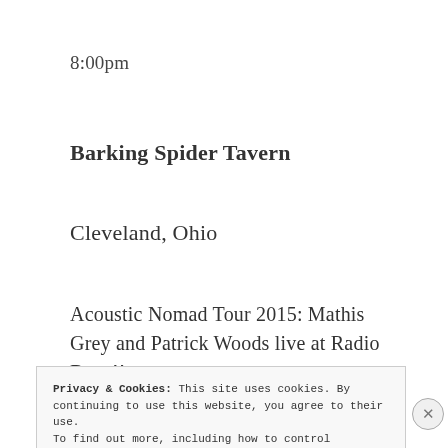8:00pm
Barking Spider Tavern
Cleveland, Ohio
Acoustic Nomad Tour 2015: Mathis Grey and Patrick Woods live at Radio Bean!!
MAY03
Privacy & Cookies: This site uses cookies. By continuing to use this website, you agree to their use.
To find out more, including how to control cookies, see here: Cookie Policy
Close and accept